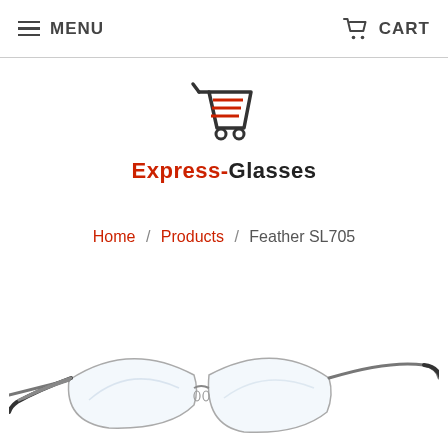MENU   CART
[Figure (logo): Express-Glasses logo: shopping cart icon with red horizontal lines on left side, above the text 'Express-Glasses' where 'Express-' is in red and 'Glasses' is in bold black.]
Home / Products / Feather SL705
[Figure (photo): Photo of rimless eyeglasses (Feather SL705) with thin metal arms/temples and dark tips, viewed from a slight angle, on a white background.]